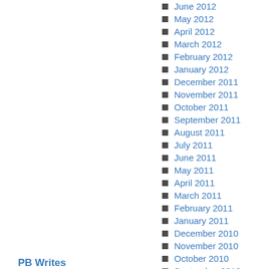June 2012
May 2012
April 2012
March 2012
February 2012
January 2012
December 2011
November 2011
October 2011
September 2011
August 2011
July 2011
June 2011
May 2011
April 2011
March 2011
February 2011
January 2011
December 2010
November 2010
October 2010
September 2010
August 2010
PB Writes